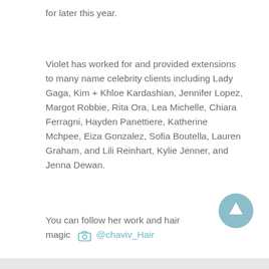for later this year.
Violet has worked for and provided extensions to many name celebrity clients including Lady Gaga, Kim + Khloe Kardashian, Jennifer Lopez, Margot Robbie, Rita Ora, Lea Michelle, Chiara Ferragni, Hayden Panettiere, Katherine Mchpee, Eiza Gonzalez, Sofia Boutella, Lauren Graham, and Lili Reinhart, Kylie Jenner, and Jenna Dewan.
You can follow her work and hair magic  @chaviv_Hair
[Figure (illustration): Teal circular scroll-to-top button with an upward arrow icon]